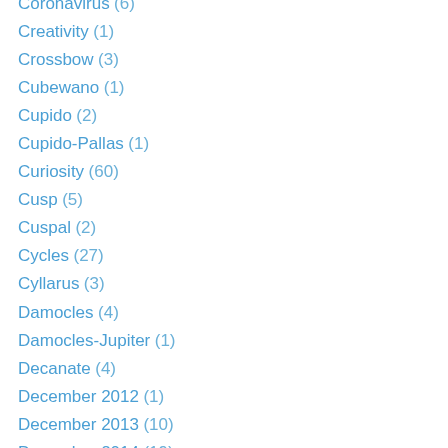Coronavirus (6)
Creativity (1)
Crossbow (3)
Cubewano (1)
Cupido (2)
Cupido-Pallas (1)
Curiosity (60)
Cusp (5)
Cuspal (2)
Cycles (27)
Cyllarus (3)
Damocles (4)
Damocles-Jupiter (1)
Decanate (4)
December 2012 (1)
December 2013 (10)
December 2014 (19)
December 2015 (15)
December 2016 (36)
December 2017 (12)